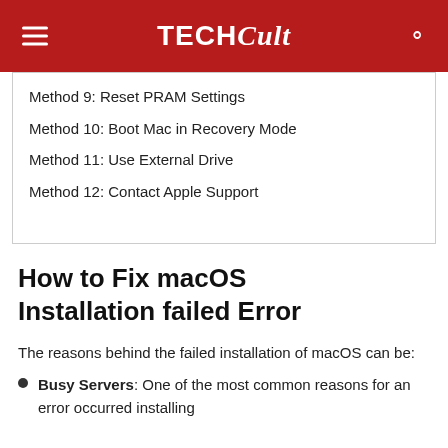TECHCult
Method 9: Reset PRAM Settings
Method 10: Boot Mac in Recovery Mode
Method 11: Use External Drive
Method 12: Contact Apple Support
How to Fix macOS Installation failed Error
The reasons behind the failed installation of macOS can be:
Busy Servers: One of the most common reasons for an error occurred installing